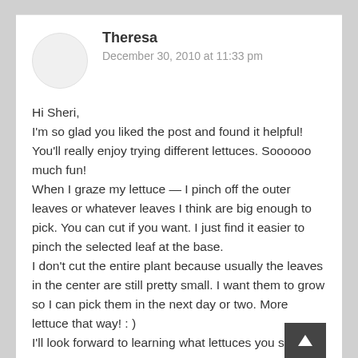Theresa
December 30, 2010 at 11:33 pm
Hi Sheri,
I'm so glad you liked the post and found it helpful! You'll really enjoy trying different lettuces. Soooooo much fun!
When I graze my lettuce — I pinch off the outer leaves or whatever leaves I think are big enough to pick. You can cut if you want. I just find it easier to pinch the selected leaf at the base.
I don't cut the entire plant because usually the leaves in the center are still pretty small. I want them to grow so I can pick them in the next day or two. More lettuce that way! : )
I'll look forward to learning what lettuces you select.